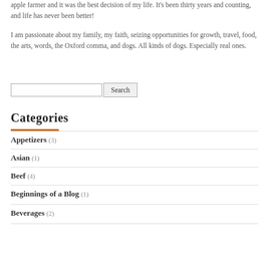apple farmer and it was the best decision of my life. It's been thirty years and counting, and life has never been better!
I am passionate about my family, my faith, seizing opportunities for growth, travel, food, the arts, words, the Oxford comma, and dogs. All kinds of dogs. Especially real ones.
[Figure (other): Search input box with Search button]
Categories
Appetizers (3)
Asian (1)
Beef (4)
Beginnings of a Blog (1)
Beverages (2)